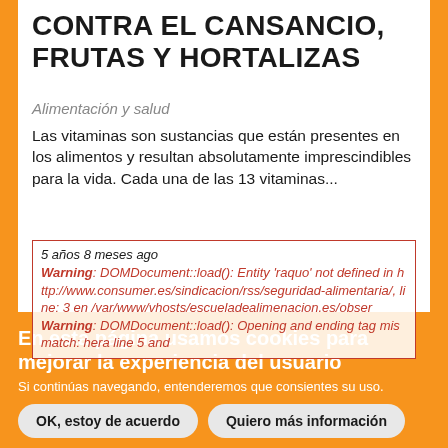CONTRA EL CANSANCIO, FRUTAS Y HORTALIZAS
Alimentación y salud
Las vitaminas son sustancias que están presentes en los alimentos y resultan absolutamente imprescindibles para la vida. Cada una de las 13 vitaminas...
5 años 8 meses ago
Warning: DOMDocument::load(): Entity 'raquo' not defined in http://www.consumer.es/sindicacion/rss/seguridad-alimentaria/, line: 3 en /var/www/vhosts/escueladealimenacion.es/observe Warning: DOMDocument::load(): Opening and ending tag mismatch: hera line 5 and
[Figure (photo): Close-up photo of green vegetable leaves]
En esta página usamos cookies para mejorar la experiencia del usuario
Si continúas navegando, entenderemos que consientes su uso.
OK, estoy de acuerdo
Quiero más información